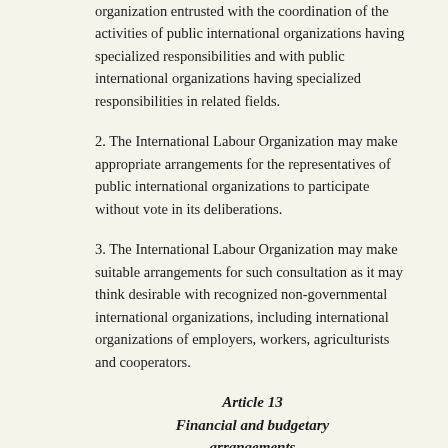organization entrusted with the coordination of the activities of public international organizations having specialized responsibilities and with public international organizations having specialized responsibilities in related fields.
2. The International Labour Organization may make appropriate arrangements for the representatives of public international organizations to participate without vote in its deliberations.
3. The International Labour Organization may make suitable arrangements for such consultation as it may think desirable with recognized non-governmental international organizations, including international organizations of employers, workers, agriculturists and cooperators.
Article 13
Financial and budgetary arrangements